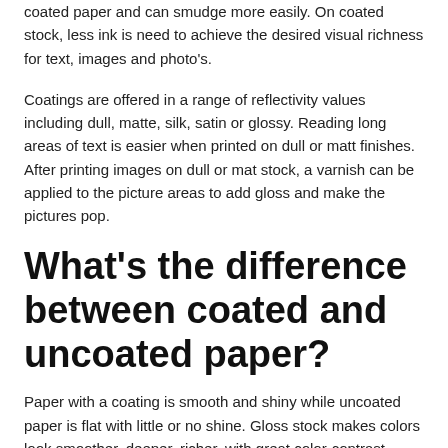coated paper and can smudge more easily. On coated stock, less ink is need to achieve the desired visual richness for text, images and photo's.
Coatings are offered in a range of reflectivity values including dull, matte, silk, satin or glossy. Reading long areas of text is easier when printed on dull or matt finishes. After printing images on dull or mat stock, a varnish can be applied to the picture areas to add gloss and make the pictures pop.
What's the difference between coated and uncoated paper?
Paper with a coating is smooth and shiny while uncoated paper is flat with little or no shine. Gloss stock makes colors look smoother, deeper, richer, with great color-contrast. Photo's and graphics tend to look better on gloss stock, while text heavy